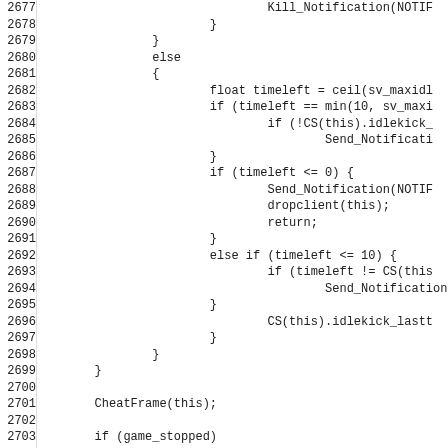[Figure (screenshot): Source code listing showing lines 2677-2708 of a game scripting file, featuring functions like Kill_Notification, CheatFrame, Send_Notification, dropclient, and set_movetype with game logic for idle kick and movement type handling.]